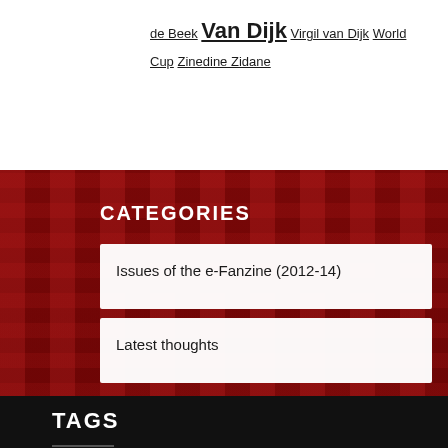de Beek Van Dijk Virgil van Dijk World Cup Zinedine Zidane
[Figure (photo): Red background showing Liverpool FC fans holding scarves and banners]
CATEGORIES
Issues of the e-Fanzine (2012-14)
Latest thoughts
TAGS
Alex Oxlade-Chamberlain Angelino Arsenal Balotelli Barcelona Champions League Coutinho Crisis Cup Final Danny